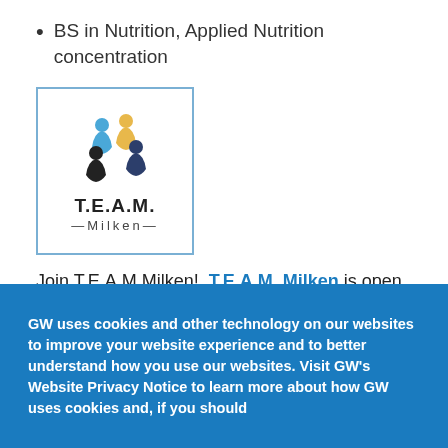BS in Nutrition, Applied Nutrition concentration
[Figure (logo): T.E.A.M. Milken logo with colorful circular figures and text 'T.E.A.M.' and '—Milken—' inside a light blue border box]
Join T.E.A.M Milken! T.E.A.M. Milken is open to all GWSPH undergraduate majors. Our goal is to provide individualized support to students so you
GW uses cookies and other technology on our websites to improve your website experience and to better understand how you use our websites. Visit GW's Website Privacy Notice to learn more about how GW uses cookies and, if you should